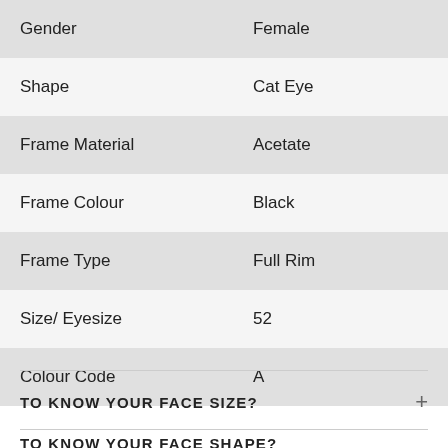| Attribute | Value |
| --- | --- |
| Gender | Female |
| Shape | Cat Eye |
| Frame Material | Acetate |
| Frame Colour | Black |
| Frame Type | Full Rim |
| Size/ Eyesize | 52 |
| Colour Code | A |
TO KNOW YOUR FACE SIZE?
TO KNOW YOUR FACE SHAPE?